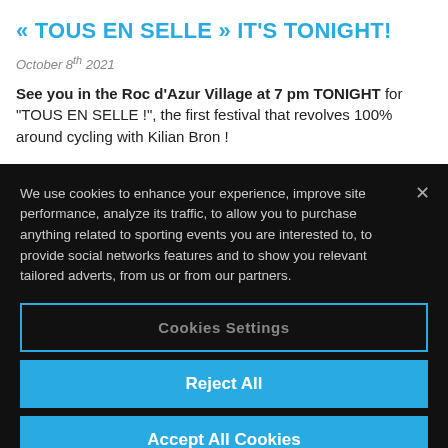« TOUS EN SELLE » IT'S TONIGHT!
October 8th 2021
See you in the Roc d'Azur Village at 7 pm TONIGHT for "TOUS EN SELLE !", the first festival that revolves 100% around cycling with Kilian Bron !
We use cookies to enhance your experience, improve site performance, analyze its traffic, to allow you to purchase anything related to sporting events you are interested to, to provide social networks features and to show you relevant tailored adverts, from us or from our partners.
Cookies Settings
Reject All
Accept All Cookies